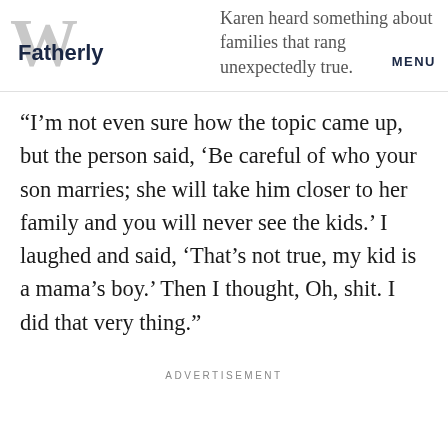Fatherly — Karen heard something about families that rang unexpectedly true. MENU
“I’m not even sure how the topic came up, but the person said, ‘Be careful of who your son marries; she will take him closer to her family and you will never see the kids.’ I laughed and said, ‘That’s not true, my kid is a mama’s boy.’ Then I thought, Oh, shit. I did that very thing.”
ADVERTISEMENT